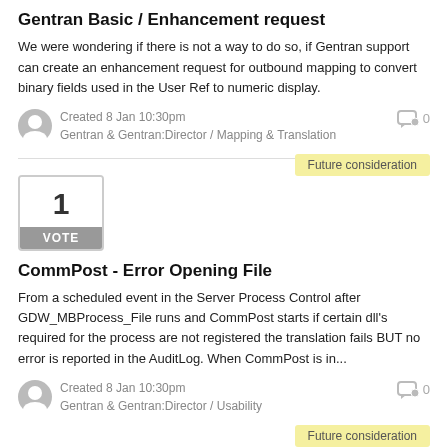Gentran Basic / Enhancement request
We were wondering if there is not a way to do so, if Gentran support can create an enhancement request for outbound mapping to convert binary fields used in the User Ref to numeric display.
Created 8 Jan 10:30pm
Gentran & Gentran:Director / Mapping & Translation
0
Future consideration
CommPost - Error Opening File
From a scheduled event in the Server Process Control after GDW_MBProcess_File runs and CommPost starts if certain dll's required for the process are not registered the translation fails BUT no error is reported in the AuditLog. When CommPost is in...
Created 8 Jan 10:30pm
Gentran & Gentran:Director / Usability
0
Future consideration